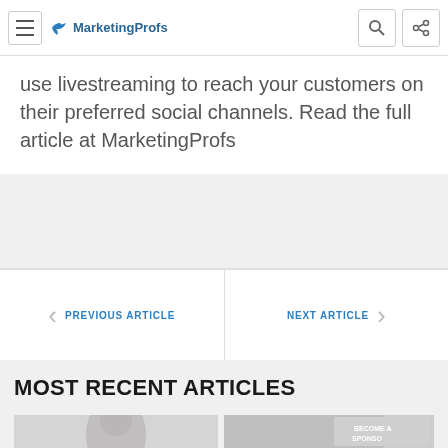MarketingProfs
use livestreaming to reach your customers on their preferred social channels. Read the full article at MarketingProfs
PREVIOUS ARTICLE
NEXT ARTICLE
MOST RECENT ARTICLES
[Figure (photo): Two article thumbnail images at the bottom of the page. Left thumbnail shows a person with dark hair. Right thumbnail shows a 'Become a Sponsor' graphic.]